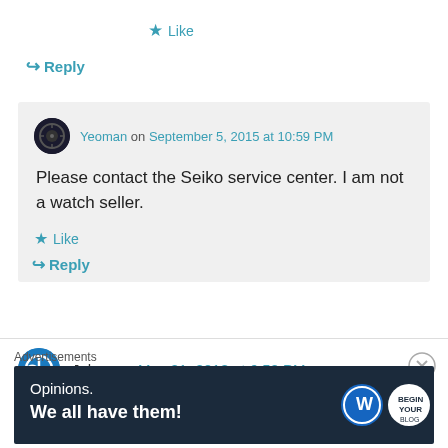★ Like
↪ Reply
Yeoman on September 5, 2015 at 10:59 PM
Please contact the Seiko service center. I am not a watch seller.
★ Like
↪ Reply
Johan on May 21, 2018 at 6:50 PM
Advertisements
[Figure (other): WordPress Opinions advertisement banner: 'Opinions. We all have them!' with WordPress and brand logos on dark navy background]